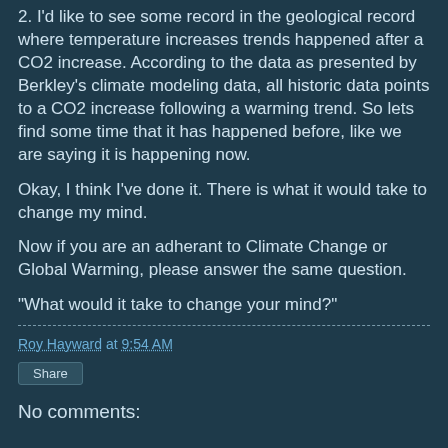2. I'd like to see some record in the geological record where temperature increases trends happened after a CO2 increase. According to the data as presented by Berkley's climate modeling data, all historic data points to a CO2 increase following a warming trend. So lets find some time that it has happened before, like we are saying it is happening now.
Okay, I think I've done it. There is what it would take to change my mind.
Now if you are an adherant to Climate Change or Global Warming, please answer the same question.
"What would it take to change your mind?"
Roy Hayward at 9:54 AM
Share
No comments: